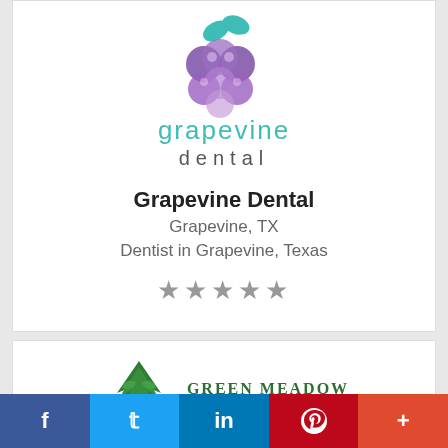[Figure (logo): Grapevine Dental logo with purple grape cluster and teal leaves above stylized text 'grapevine dental']
Grapevine Dental
Grapevine, TX
Dentist in Grapevine, Texas
★★★★★
[Figure (logo): Green Meadow Dental logo with green tree and text 'GREEN MEADOW DENTAL']
[Figure (infographic): Social media sharing bar with Facebook, Twitter, LinkedIn, Pinterest, and more buttons]